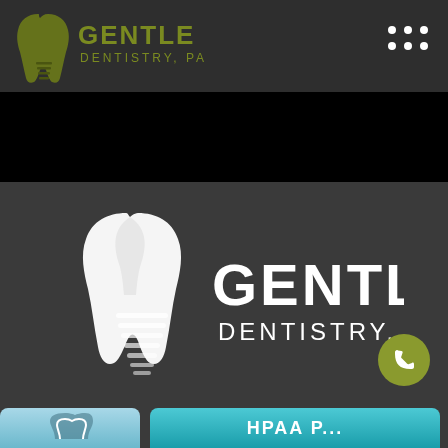[Figure (logo): Gentle Dentistry PA logo in navigation bar - olive green tooth shape with text GENTLE DENTISTRY PA]
[Figure (logo): Gentle Dentistry PA large center logo - white tooth shape with text GENTLE DENTISTRY PA on dark background]
[Figure (other): Phone call floating button - olive/yellow-green circle with phone handset icon]
[Figure (other): Bottom navigation strip with two buttons - light blue section on left and teal section on right with text]